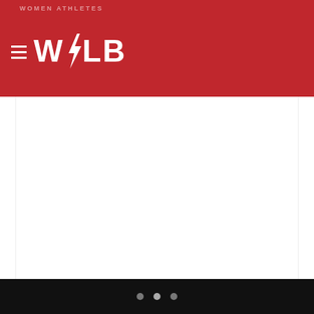WOMEN ATHLETES
[Figure (logo): WOLB logo with lightning bolt on red background, with hamburger menu icon]
[Figure (other): Large white advertisement/content area placeholder]
MORE BY CHARISE FRAZIER
Buy Black Tuesday: Where To Shop In B’More [8-30-2022]
Navigation dots: three circles indicating carousel position